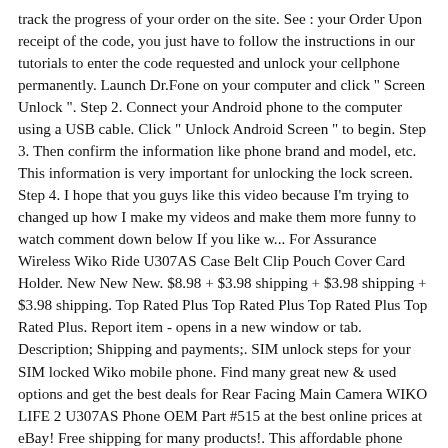track the progress of your order on the site. See : your Order Upon receipt of the code, you just have to follow the instructions in our tutorials to enter the code requested and unlock your cellphone permanently. Launch Dr.Fone on your computer and click " Screen Unlock ". Step 2. Connect your Android phone to the computer using a USB cable. Click " Unlock Android Screen " to begin. Step 3. Then confirm the information like phone brand and model, etc. This information is very important for unlocking the lock screen. Step 4. I hope that you guys like this video because I'm trying to changed up how I make my videos and make them more funny to watch comment down below If you like w... For Assurance Wireless Wiko Ride U307AS Case Belt Clip Pouch Cover Card Holder. New New New. $8.98 + $3.98 shipping + $3.98 shipping + $3.98 shipping. Top Rated Plus Top Rated Plus Top Rated Plus Top Rated Plus. Report item - opens in a new window or tab. Description; Shipping and payments;. SIM unlock steps for your SIM locked Wiko mobile phone. Find many great new & used options and get the best deals for Rear Facing Main Camera WIKO LIFE 2 U307AS Phone OEM Part #515 at the best online prices at eBay! Free shipping for many products!. This affordable phone comes with Android 9, a 5-megapixel camera, removable battery, memory card slot, and a 3.5mm audio jack. Unlock your Wiko U307AS from the comfort of your own home.You took get all dialing android mobile secret codes of any Wiko phone. Assurance Wireless Promo Codes Coupons Deals Feb 2021 CODES 4 days